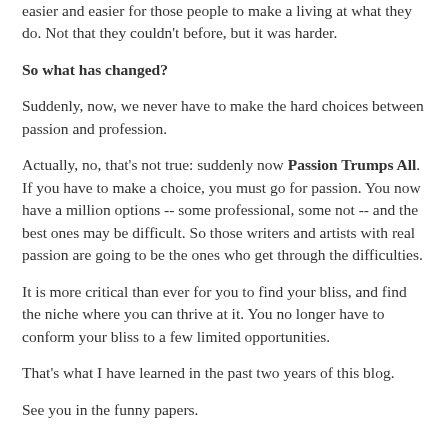easier and easier for those people to make a living at what they do. Not that they couldn't before, but it was harder.
So what has changed?
Suddenly, now, we never have to make the hard choices between passion and profession.
Actually, no, that's not true: suddenly now Passion Trumps All. If you have to make a choice, you must go for passion. You now have a million options -- some professional, some not -- and the best ones may be difficult. So those writers and artists with real passion are going to be the ones who get through the difficulties.
It is more critical than ever for you to find your bliss, and find the niche where you can thrive at it. You no longer have to conform your bliss to a few limited opportunities.
That's what I have learned in the past two years of this blog.
See you in the funny papers.